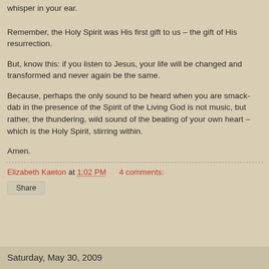whisper in your ear.
Remember, the Holy Spirit was His first gift to us – the gift of His resurrection.
But, know this: if you listen to Jesus, your life will be changed and transformed and never again be the same.
Because, perhaps the only sound to be heard when you are smack-dab in the presence of the Spirit of the Living God is not music, but rather, the thundering, wild sound of the beating of your own heart – which is the Holy Spirit, stirring within.
Amen.
Elizabeth Kaeton at 1:02 PM   4 comments:
Share
Saturday, May 30, 2009